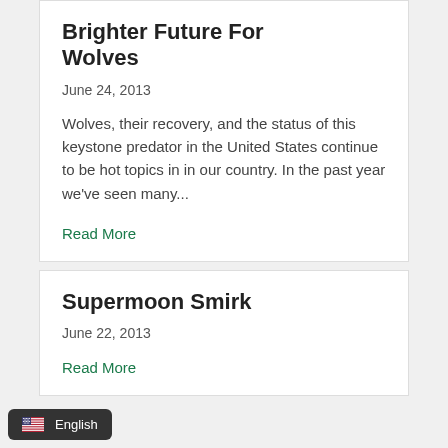Brighter Future For Wolves
June 24, 2013
Wolves, their recovery, and the status of this keystone predator in the United States continue to be hot topics in in our country. In the past year we've seen many...
Read More
Supermoon Smirk
June 22, 2013
Read More
English